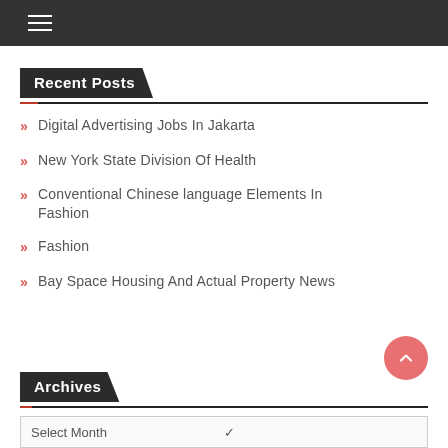☰ (hamburger menu)
Recent Posts
Digital Advertising Jobs In Jakarta
New York State Division Of Health
Conventional Chinese language Elements In Fashion
Fashion
Bay Space Housing And Actual Property News
Archives
Select Month